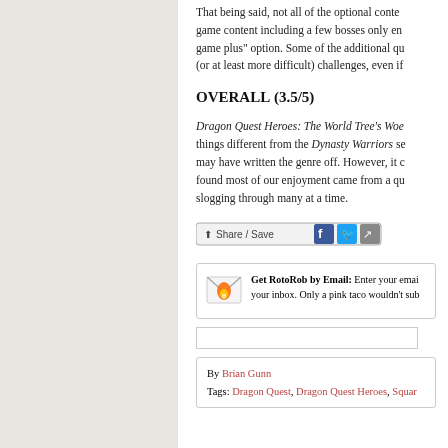That being said, not all of the optional content game content including a few bosses only en game plus” option. Some of the additional qu (or at least more difficult) challenges, even if
OVERALL (3.5/5)
Dragon Quest Heroes: The World Tree’s Woe things different from the Dynasty Warriors se may have written the genre off. However, it c found most of our enjoyment came from a qu slogging through many at a time.
[Figure (infographic): Share/Save button with Facebook and Twitter icons]
Get RotoRob by Email: Enter your email your inbox. Only a pink taco wouldn’t sub
By Brian Gunn
Tags: Dragon Quest, Dragon Quest Heroes, Squar